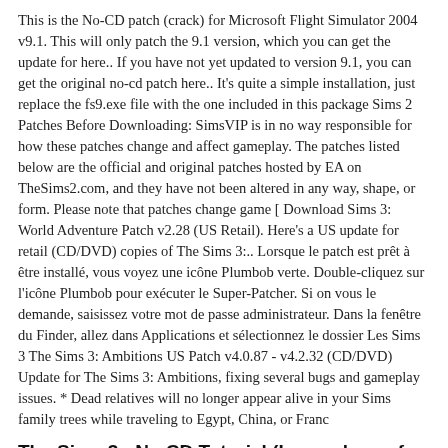This is the No-CD patch (crack) for Microsoft Flight Simulator 2004 v9.1. This will only patch the 9.1 version, which you can get the update for here.. If you have not yet updated to version 9.1, you can get the original no-cd patch here.. It's quite a simple installation, just replace the fs9.exe file with the one included in this package Sims 2 Patches Before Downloading: SimsVIP is in no way responsible for how these patches change and affect gameplay. The patches listed below are the official and original patches hosted by EA on TheSims2.com, and they have not been altered in any way, shape, or form. Please note that patches change game [ Download Sims 3: World Adventure Patch v2.28 (US Retail). Here's a US update for retail (CD/DVD) copies of The Sims 3:.. Lorsque le patch est prêt à être installé, vous voyez une icône Plumbob verte. Double-cliquez sur l'icône Plumbob pour exécuter le Super-Patcher. Si on vous le demande, saisissez votre mot de passe administrateur. Dans la fenêtre du Finder, allez dans Applications et sélectionnez le dossier Les Sims 3 The Sims 3: Ambitions US Patch v4.0.87 - v4.2.32 (CD/DVD) Update for The Sims 3: Ambitions, fixing several bugs and gameplay issues. * Dead relatives will no longer appear alive in your Sims family trees while traveling to Egypt, China, or Franc
The Sims 3 - No CD Tutorial (Incase loss of CD) - YouTub
3 ways to play sims 3 without the cd wikihow. Flightview (ord) chicago flight tracker & airport delays. Hurricanes' opening loss to lsu is no reason to abandon all hope. How to play games without cd using no-cd cracks. The sims 3 no cd tutorial (incase loss of cd) youtube.